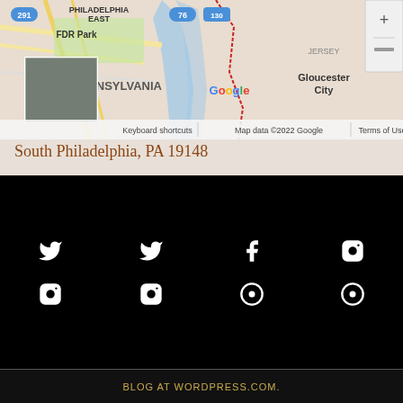[Figure (map): Google Map showing South Philadelphia area, Pennsylvania, with FDR Park, Philadelphia East, Gloucester City NJ visible. Shows street map with waterways, roads, and location thumbnail.]
South Philadelphia, PA 19148
[Figure (infographic): Dark black background section with 8 social media icons arranged in 2 rows of 4: Twitter, Twitter, Facebook, Instagram (top row); Instagram, Instagram, custom icon, custom icon (bottom row). All icons are white on black.]
BLOG AT WORDPRESS.COM.